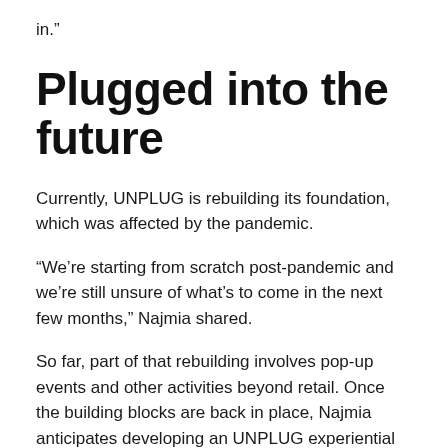in.”
Plugged into the future
Currently, UNPLUG is rebuilding its foundation, which was affected by the pandemic.
“We’re starting from scratch post-pandemic and we’re still unsure of what’s to come in the next few months,” Najmia shared.
So far, part of that rebuilding involves pop-up events and other activities beyond retail. Once the building blocks are back in place, Najmia anticipates developing an UNPLUG experiential